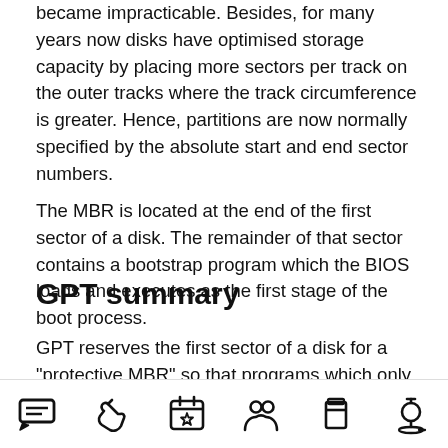became impracticable. Besides, for many years now disks have optimised storage capacity by placing more sectors per track on the outer tracks where the track circumference is greater. Hence, partitions are now normally specified by the absolute start and end sector numbers.
The MBR is located at the end of the first sector of a disk. The remainder of that sector contains a bootstrap program which the BIOS loads and executes as the first stage of the boot process.
GPT summary
GPT reserves the first sector of a disk for a "protective MBR" so that programs which only
[icons: message, pointer, calendar-star, people, storage, microscope]